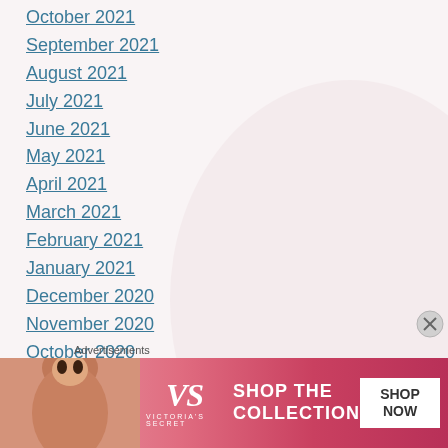October 2021
September 2021
August 2021
July 2021
June 2021
May 2021
April 2021
March 2021
February 2021
January 2021
December 2020
November 2020
October 2020
September 2020
August 2020
Advertisements
[Figure (photo): Victoria's Secret advertisement banner with a model, VS logo, 'SHOP THE COLLECTION' text, and 'SHOP NOW' button]